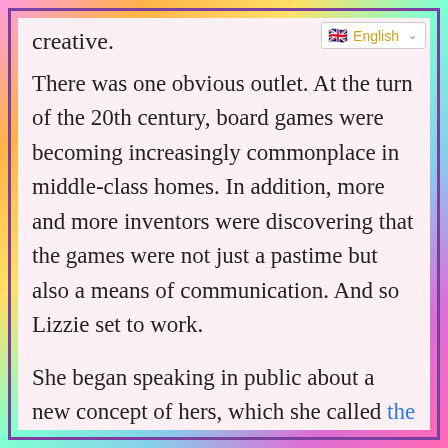English (language selector)
creative.
There was one obvious outlet. At the turn of the 20th century, board games were becoming increasingly commonplace in middle-class homes. In addition, more and more inventors were discovering that the games were not just a pastime but also a means of communication. And so Lizzie set to work.
She began speaking in public about a new concept of hers, which she called the Landlord's Game. “It is a practical demonstration of the present system of land-grabbing with all its usual outcomes and consequences,” she wrote in a political magazine. “It might well have been